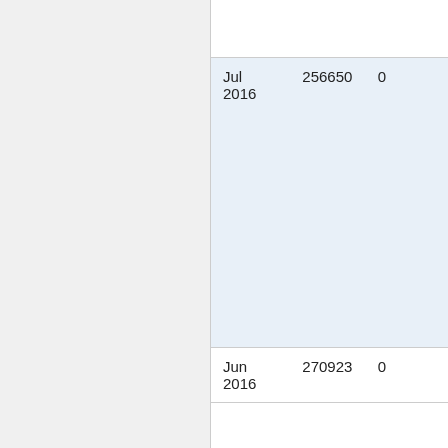| Date | Value | Other |
| --- | --- | --- |
| Jul 2016 | 256650 | 0 |
| Jun 2016 | 270923 | 0 |